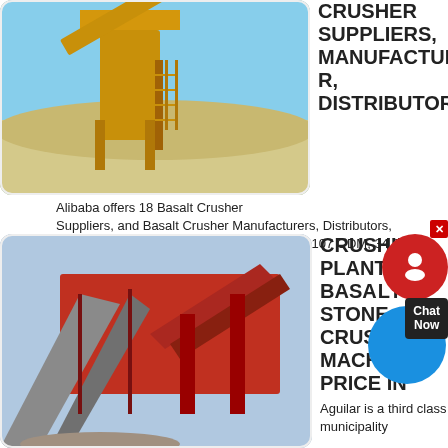[Figure (photo): Yellow industrial basalt crusher machine at a quarry site with blue sky background]
Crusher Suppliers, Manufacturer, Distributor
Alibaba offers 18 Basalt Crusher Suppliers, and Basalt Crusher Manufacturers, Distributors, Factories, Companies. There are 121 OEM, 107 ODM, 34 Self Patent. Find high quality Basalt Crusher
get price
[Figure (photo): Red industrial crushing plant conveyor and machinery against blue sky]
Crushing Plant Basalt Stone Crusher Machine Price In
Aguilar is a third class municipality